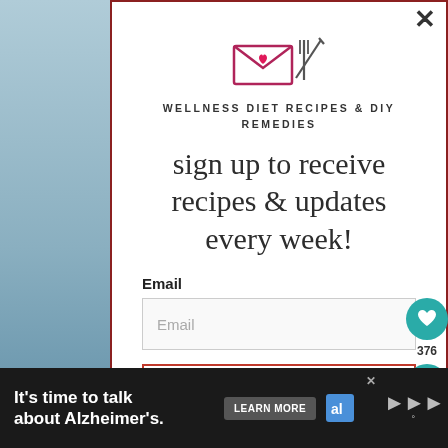[Figure (logo): Wellness Diet Recipes & DIY Remedies logo: envelope with heart and crossed fork/knife utensils]
WELLNESS DIET RECIPES & DIY REMEDIES
sign up to receive recipes & updates every week!
Email
Email
SUBSCRIBE
You can easily unsubscribe from our mailing list at any
[Figure (infographic): Alzheimer's awareness advertisement bar at the bottom with text 'It's time to talk about Alzheimer's.' and Learn More button with Alzheimer's Association logo]